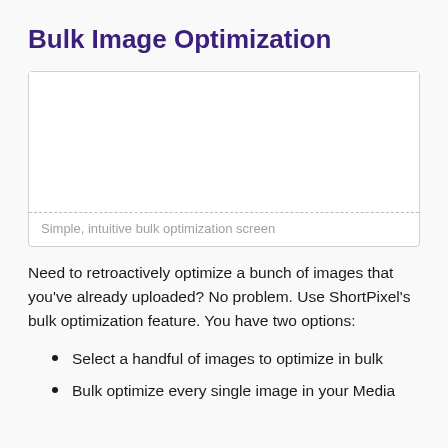Bulk Image Optimization
[Figure (screenshot): Screenshot of a simple, intuitive bulk optimization screen with a white content area]
Simple, intuitive bulk optimization screen
Need to retroactively optimize a bunch of images that you've already uploaded? No problem. Use ShortPixel's bulk optimization feature. You have two options:
Select a handful of images to optimize in bulk
Bulk optimize every single image in your Media